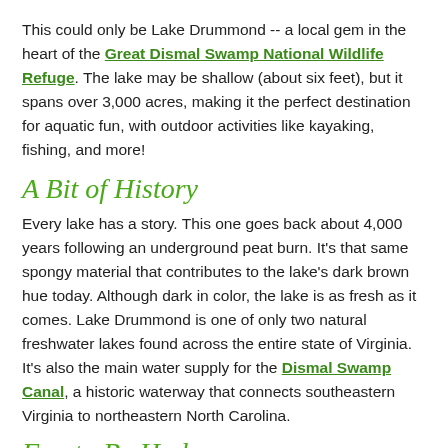This could only be Lake Drummond -- a local gem in the heart of the Great Dismal Swamp National Wildlife Refuge. The lake may be shallow (about six feet), but it spans over 3,000 acres, making it the perfect destination for aquatic fun, with outdoor activities like kayaking, fishing, and more!
A Bit of History
Every lake has a story. This one goes back about 4,000 years following an underground peat burn. It's that same spongy material that contributes to the lake's dark brown hue today. Although dark in color, the lake is as fresh as it comes. Lake Drummond is one of only two natural freshwater lakes found across the entire state of Virginia. It's also the main water supply for the Dismal Swamp Canal, a historic waterway that connects southeastern Virginia to northeastern North Carolina.
Fun to Be Had
Canoeing or kayaking are just a couple of ways to enjoy all that